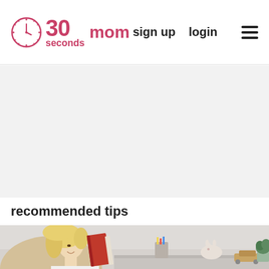30 seconds mom — sign up  login
[Figure (other): Advertisement placeholder area with light gray background]
recommended tips
[Figure (photo): Woman with blonde hair smiling, reading or holding a red book, with shelves and decorative items in the background]